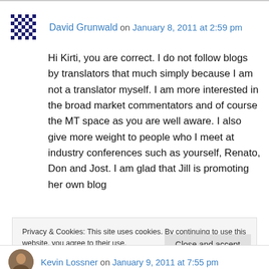David Grunwald on January 8, 2011 at 2:59 pm
Hi Kirti, you are correct. I do not follow blogs by translators that much simply because I am not a translator myself. I am more interested in the broad market commentators and of course the MT space as you are well aware. I also give more weight to people who I meet at industry conferences such as yourself, Renato, Don and Jost. I am glad that Jill is promoting her own blog
Privacy & Cookies: This site uses cookies. By continuing to use this website, you agree to their use.
To find out more, including how to control cookies, see here: Cookie Policy
Close and accept
Kevin Lossner on January 9, 2011 at 7:55 pm